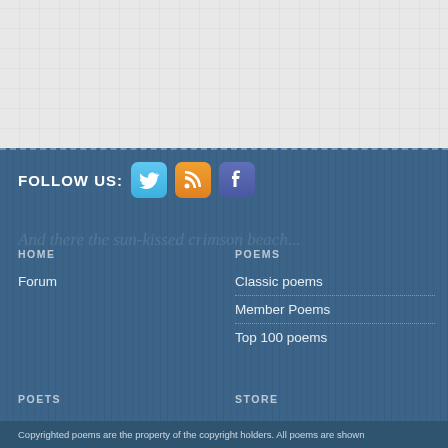[Figure (other): Top gray textured/grid background area]
FOLLOW US:
[Figure (other): Twitter social media icon (blue bird)]
[Figure (other): RSS feed icon (orange)]
[Figure (other): Facebook social media icon (purple/blue)]
HOME
Forum
POEMS
Classic poems
Member Poems
Top 100 poems
POETS
Top 100 poets
Explore poets
STORE
Paper books
Copyrighted poems are the property of the copyright holders. All poems are shown